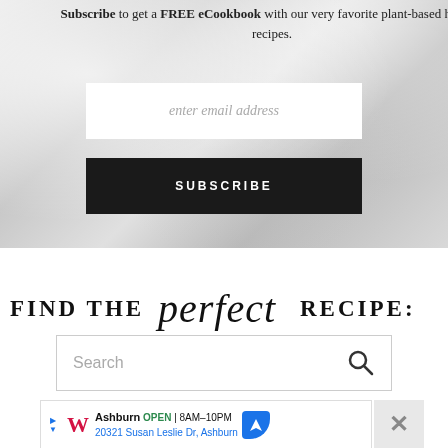Subscribe to get a FREE eCookbook with our very favorite plant-based holiday recipes.
[Figure (screenshot): Email input field with placeholder text 'enter email address' on marble background]
[Figure (screenshot): Black SUBSCRIBE button]
FIND THE perfect RECIPE:
[Figure (screenshot): Search box with placeholder 'Search' and magnifying glass icon]
[Figure (screenshot): Walgreens advertisement: Ashburn OPEN 8AM-10PM, 20321 Susan Leslie Dr, Ashburn]